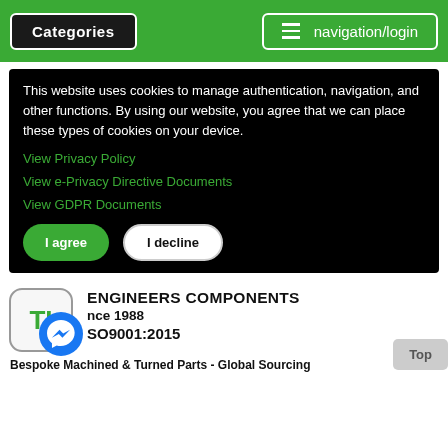Categories  navigation/login
This website uses cookies to manage authentication, navigation, and other functions. By using our website, you agree that we can place these types of cookies on your device.
View Privacy Policy
View e-Privacy Directive Documents
View GDPR Documents
I agree   I decline
[Figure (logo): TI logo box with Messenger icon overlay]
ENGINEERS COMPONENTS
nce 1988
SO9001:2015
Bespoke Machined & Turned Parts - Global Sourcing Specialists